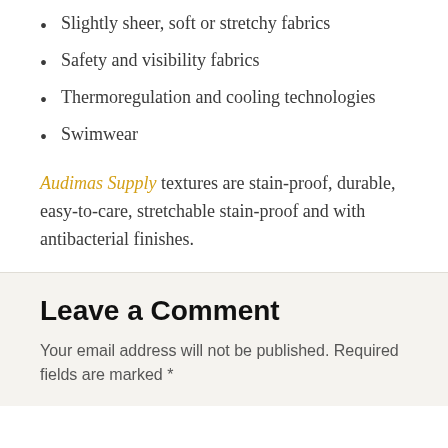Slightly sheer, soft or stretchy fabrics
Safety and visibility fabrics
Thermoregulation and cooling technologies
Swimwear
Audimas Supply textures are stain-proof, durable, easy-to-care, stretchable stain-proof and with antibacterial finishes.
Leave a Comment
Your email address will not be published. Required fields are marked *